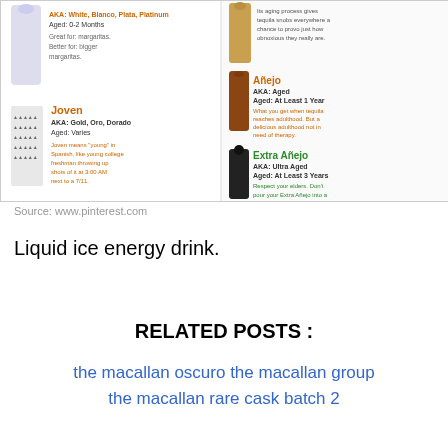[Figure (infographic): Infographic about types of tequila (Joven, Añejo, Extra Añejo) with bottle images and descriptions. Shows AKA names, aging info, and humorous descriptions for each type.]
Source: www.pinterest.com
Liquid ice energy drink.
RELATED POSTS :
the macallan oscuro the macallan group the macallan rare cask batch 2